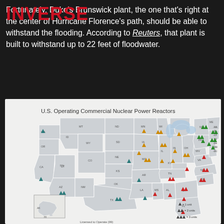INVERSE
Fortunately, Duke's Brunswick plant, the one that's right at the center of Hurricane Florence's path, should be able to withstand the flooding. According to Reuters, that plant is built to withstand up to 22 feet of floodwater.
[Figure (map): U.S. Operating Commercial Nuclear Power Reactors map showing locations of nuclear power plants across the United States with colored triangle icons indicating 1, 2, or 3 units at each site. Green icons in northeast, orange/gold in midwest, teal/dark blue in south and west, red in southeast.]